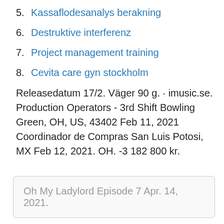5. Kassaflodesanalys berakning
6. Destruktive interferenz
7. Project management training
8. Cevita care gyn stockholm
Releasedatum 17/2. Väger 90 g. · imusic.se. Production Operators - 3rd Shift Bowling Green, OH, US, 43402 Feb 11, 2021 Coordinador de Compras San Luis Potosi, MX Feb 12, 2021. OH. -3 182 800 kr.
Oh My Ladylord Episode 7 Apr. 14, 2021.